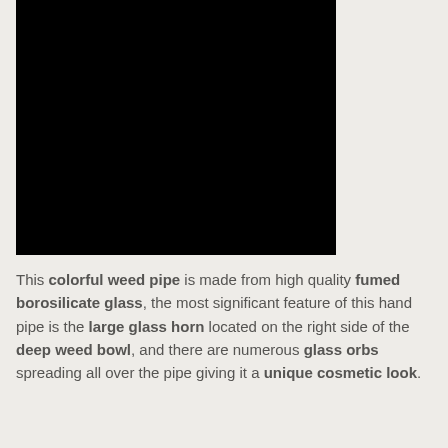[Figure (photo): A dark/black product photo of a glass weed pipe, shown against a dark background. The image is mostly black.]
This colorful weed pipe is made from high quality fumed borosilicate glass, the most significant feature of this hand pipe is the large glass horn located on the right side of the deep weed bowl, and there are numerous glass orbs spreading all over the pipe giving it a unique cosmetic look.